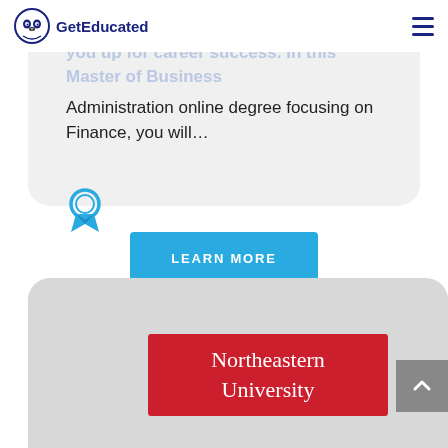GetEducated
A graduate degree in Finance can set you up for career success. In this Master of Business Administration online degree focusing on Finance, you will…
[Figure (illustration): Award/ribbon icon in cyan color]
LEARN MORE
[Figure (logo): Northeastern University logo - red rectangle with white serif text reading 'Northeastern University']